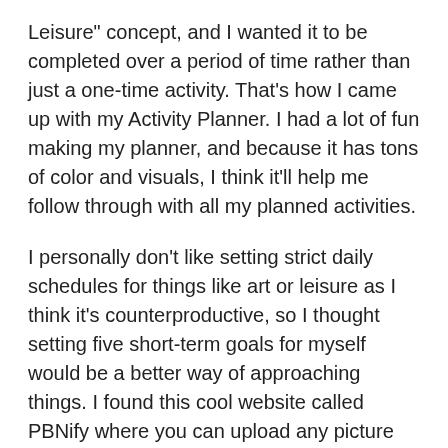Leisure" concept, and I wanted it to be completed over a period of time rather than just a one-time activity. That's how I came up with my Activity Planner. I had a lot of fun making my planner, and because it has tons of color and visuals, I think it'll help me follow through with all my planned activities.
I personally don't like setting strict daily schedules for things like art or leisure as I think it's counterproductive, so I thought setting five short-term goals for myself would be a better way of approaching things. I found this cool website called PBNify where you can upload any picture and turn it into a paint-by-numbers project, so I decided to paint a picture of Harry Styles because he's one of my favorite artists. Hopefully this project doesn't take me too long, because there's a lot of other pictures I'd like to paint. I've also seen a lot of videos on social